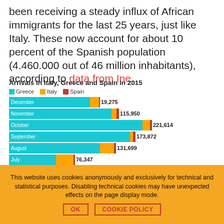been receiving a steady influx of African immigrants for the last 25 years, just like Italy. These now account for about 10 percent of the Spanish population (4.460.000 out of 46 million inhabitants), according to data from Ine.
[Figure (bar-chart): Arrivals in Italy, Greece and Spain in 2015]
This website uses cookies anonymously and exclusively for technical and statistical purposes. Disabling technical cookies may have unexpected effects on the page display mode.